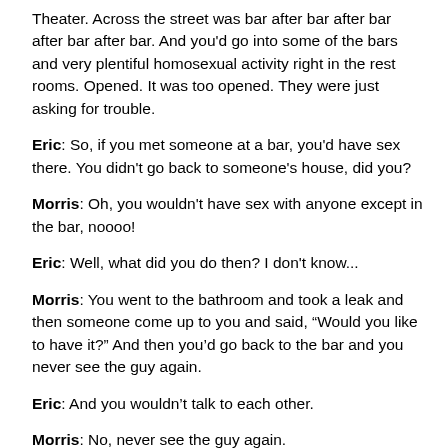Theater.  Across the street was bar after bar after bar after bar after bar.  And you'd go into some of the bars and very plentiful homosexual activity right in the rest rooms.  Opened.  It was too opened.  They were just asking for trouble.
Eric:  So, if you met someone at a bar, you'd have sex there.  You didn't go back to someone's house, did you?
Morris:  Oh, you wouldn't have sex with anyone except in the bar, noooo!
Eric:  Well, what did you do then?  I don't know...
Morris:  You went to the bathroom and took a leak and then someone come up to you and said, “Would you like to have it?”  And then you’d go back to the bar and you never see the guy again.
Eric:  And you wouldn’t talk to each other.
Morris:  No, never see the guy again.
Eric:  Did you have any sense that being gay was bad at